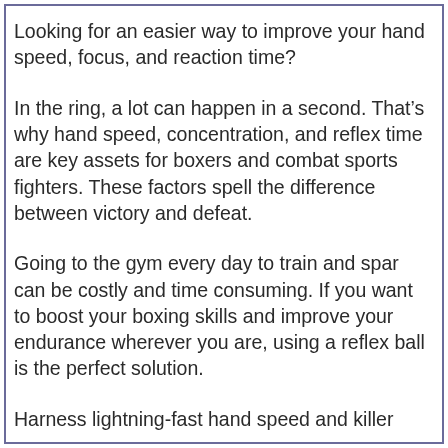Looking for an easier way to improve your hand speed, focus, and reaction time?
In the ring, a lot can happen in a second. That’s why hand speed, concentration, and reflex time are key assets for boxers and combat sports fighters. These factors spell the difference between victory and defeat.
Going to the gym every day to train and spar can be costly and time consuming. If you want to boost your boxing skills and improve your endurance wherever you are, using a reflex ball is the perfect solution.
Harness lightning-fast hand speed and killer